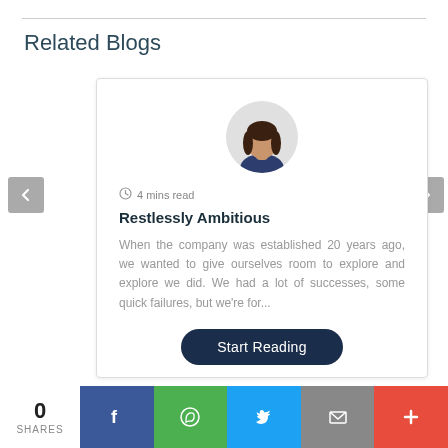Related Blogs
[Figure (photo): Circular avatar photo of a woman with dark hair wearing a navy top]
4 mins read
Restlessly Ambitious
When the company was established 20 years ago, we wanted to give ourselves room to explore and explore we did. We had a lot of successes, some quick failures, but we're for...
Start Reading
0
SHARES